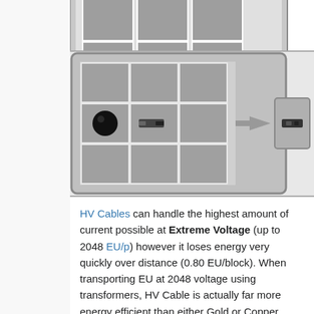[Figure (illustration): Minecraft crafting grid showing HV Cable recipe: a crafting table with items in the middle row (coal/rubber ball on left, cable connector in center), an arrow pointing right, and the resulting HV Cable item on the right.]
HV Cables can handle the highest amount of current possible at Extreme Voltage (up to 2048 EU/p) however it loses energy very quickly over distance (0.80 EU/block). When transporting EU at 2048 voltage using transformers, HV Cable is actually far more energy efficient than either Gold or Copper Cable. Only Glass Fibre Cable is more energy efficient, at the expense of Glass Fibre's diamond material cost.
Glass Fibre Cable ...